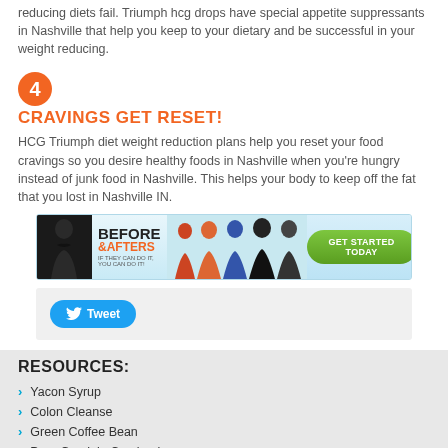reducing diets fail. Triumph hcg drops have special appetite suppressants in Nashville that help you keep to your dietary and be successful in your weight reducing.
4 CRAVINGS GET RESET!
HCG Triumph diet weight reduction plans help you reset your food cravings so you desire healthy foods in Nashville when you're hungry instead of junk food in Nashville. This helps your body to keep off the fat that you lost in Nashville IN.
[Figure (infographic): Before & Afters advertisement banner with people silhouettes and a green GET STARTED TODAY button]
[Figure (screenshot): Tweet button in a light gray box]
RESOURCES:
Yacon Syrup
Colon Cleanse
Green Coffee Bean
Pure Garcinia Cambogia
NRF2